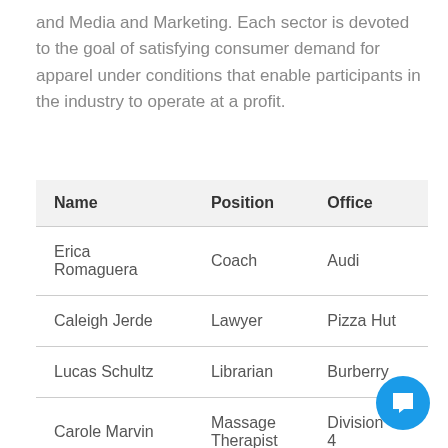and Media and Marketing. Each sector is devoted to the goal of satisfying consumer demand for apparel under conditions that enable participants in the industry to operate at a profit.
| Name | Position | Office |
| --- | --- | --- |
| Erica Romaguera | Coach | Audi |
| Caleigh Jerde | Lawyer | Pizza Hut |
| Lucas Schultz | Librarian | Burberry |
| Carole Marvin | Massage Therapist | Division 4 |